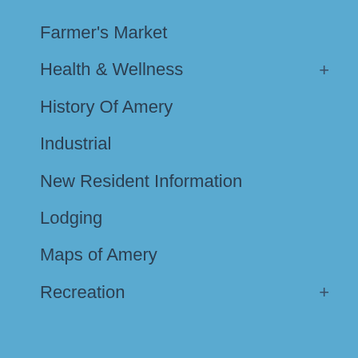Farmer's Market
Health & Wellness +
History Of Amery
Industrial
New Resident Information
Lodging
Maps of Amery
Recreation +